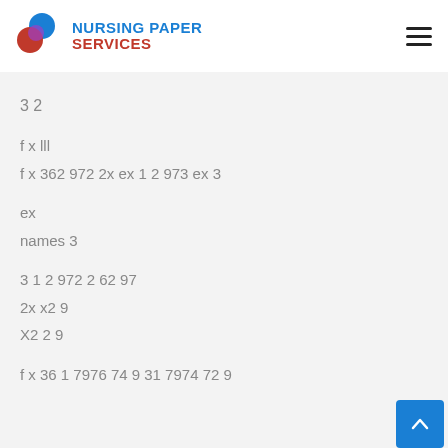NURSING PAPER SERVICES
3 2
f x lll
f x 362 972 2x ex 1 2 973 ex 3
ex
names 3
3 1 2 972 2 62 97
2x x2 9
X2 2 9
f x 36 1 7976 74 9 31 7974 72 9